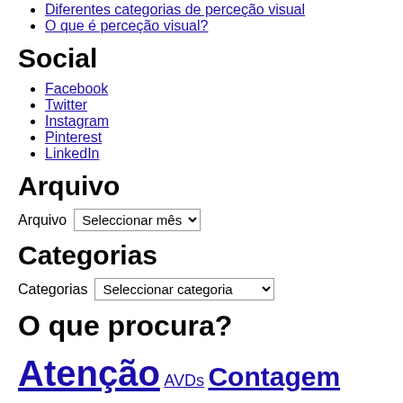Diferentes categorias de perceção visual
O que é perceção visual?
Social
Facebook
Twitter
Instagram
Pinterest
LinkedIn
Arquivo
Arquivo  Seleccionar mês
Categorias
Categorias  Seleccionar categoria
O que procura?
Atenção AVDs Contagem Coordenação Bilateral Coordenação unilateral